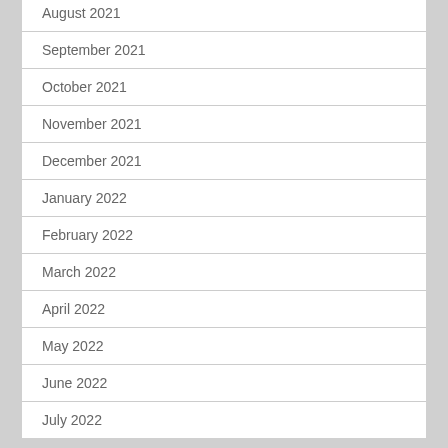August 2021
September 2021
October 2021
November 2021
December 2021
January 2022
February 2022
March 2022
April 2022
May 2022
June 2022
July 2022
August 2022